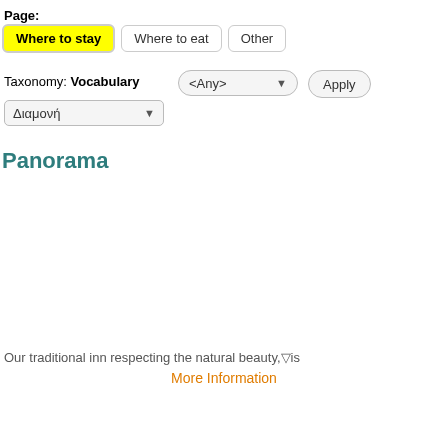Page:
Where to stay | Where to eat | Other
Taxonomy: Vocabulary
<Any>
Apply
Διαμονή
Panorama
Our traditional inn respecting the natural beauty, is
More Information